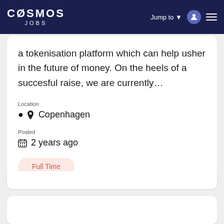COSMOS JOBS — Jump to
a tokenisation platform which can help usher in the future of money. On the heels of a succesful raise, we are currently...
Location
Copenhagen
Posted
2 years ago
Full Time